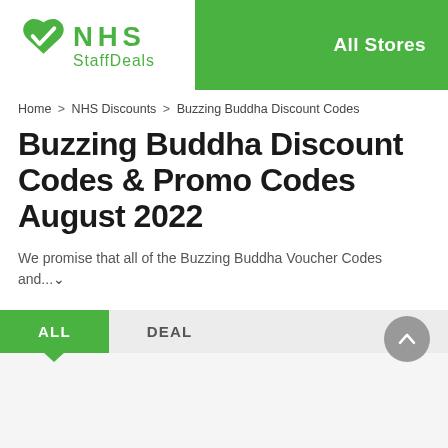[Figure (logo): NHS StaffDeals logo with green heart/checkmark icon and text 'NHS StaffDeals' on white background, with 'All Stores' text on green header bar]
Home > NHS Discounts > Buzzing Buddha Discount Codes
Buzzing Buddha Discount Codes & Promo Codes August 2022
We promise that all of the Buzzing Buddha Voucher Codes and...
ALL   DEAL